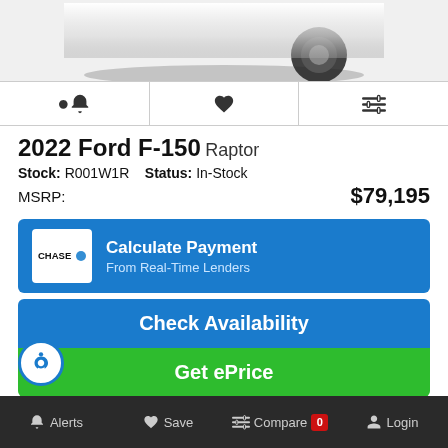[Figure (photo): Partial view of a Ford F-150 Raptor truck, showing the undercarriage and tire, black and white / monochrome, cropped at top]
Alert icon | Save/Heart icon | Compare icon (action icons row)
2022 Ford F-150 Raptor
Stock: R001W1R  Status: In-Stock
MSRP: $79,195
[Figure (logo): Chase bank logo on Calculate Payment banner]
Calculate Payment From Real-Time Lenders
Check Availability
Get ePrice
Value Your Trade
Alerts  Save  Compare 0  Login